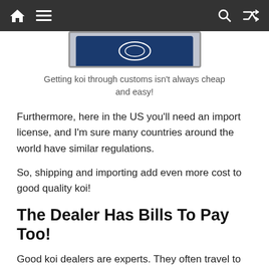Navigation bar with home, menu, search, and shuffle icons
[Figure (illustration): Partial image of a koi fish book or device with dark navy background, partially visible at top of content area]
Getting koi through customs isn't always cheap and easy!
Furthermore, here in the US you'll need an import license, and I'm sure many countries around the world have similar regulations.
So, shipping and importing add even more cost to good quality koi!
The Dealer Has Bills To Pay Too!
Good koi dealers are experts. They often travel to Japan to hand pick the best koi that they can then .